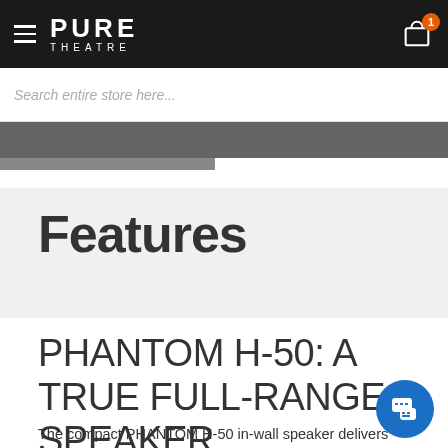PURE THEATRE
Search entire store here...
Features
PHANTOM H-50: A TRUE FULL-RANGE SPEAKER
The compact PHANTOM H-50 in-wall speaker delivers